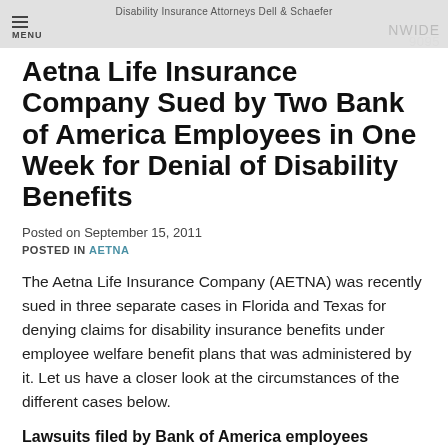Disability Insurance Attorneys Dell & Schaefer
Aetna Life Insurance Company Sued by Two Bank of America Employees in One Week for Denial of Disability Benefits
Posted on September 15, 2011
POSTED IN AETNA
The Aetna Life Insurance Company (AETNA) was recently sued in three separate cases in Florida and Texas for denying claims for disability insurance benefits under employee welfare benefit plans that was administered by it. Let us have a closer look at the circumstances of the different cases below.
Lawsuits filed by Bank of America employees against